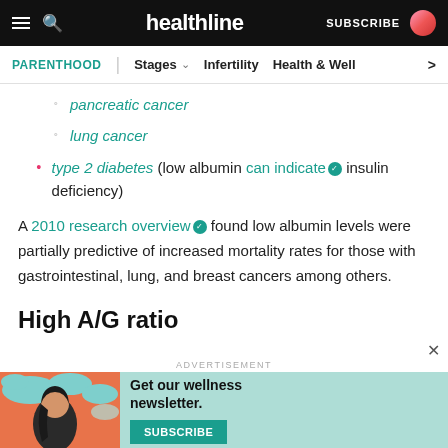healthline — SUBSCRIBE
PARENTHOOD | Stages | Infertility | Health & Well
pancreatic cancer
lung cancer
type 2 diabetes (low albumin can indicate insulin deficiency)
A 2010 research overview found low albumin levels were partially predictive of increased mortality rates for those with gastrointestinal, lung, and breast cancers among others.
High A/G ratio
[Figure (other): Advertisement banner: Get our wellness newsletter. Subscribe button. Illustration of woman with clouds background in teal/orange colors.]